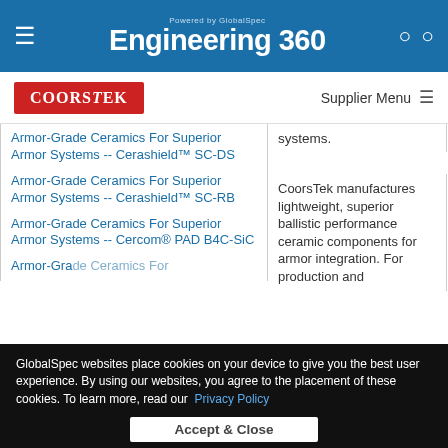Powered by GlobalSpec Engineering 360
[Figure (logo): CoorsTek red logo]
Supplier Menu
systems.
Armor-Grade Ceramics For Superior Armor Systems -- Cerashield™ SC-DS
Armor-Grade Ceramics For Superior Armor Systems -- Cerashield™ SC-RB
Armor-Grade Ceramics For Superior Armor Systems -- Cercom® PAD B4C-SiC
CoorsTek manufactures lightweight, superior ballistic performance ceramic components for armor integration. For production and
GlobalSpec websites place cookies on your device to give you the best user experience. By using our websites, you agree to the placement of these cookies. To learn more, read our Privacy Policy
Accept & Close